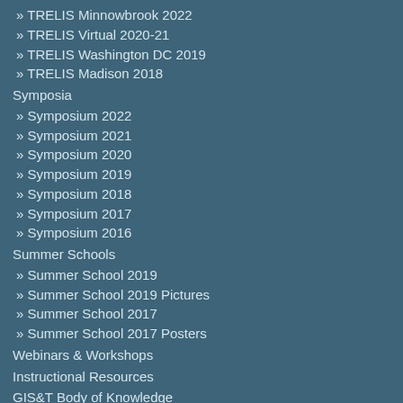» TRELIS Minnowbrook 2022
» TRELIS Virtual 2020-21
» TRELIS Washington DC 2019
» TRELIS Madison 2018
Symposia
» Symposium 2022
» Symposium 2021
» Symposium 2020
» Symposium 2019
» Symposium 2018
» Symposium 2017
» Symposium 2016
Summer Schools
» Summer School 2019
» Summer School 2019 Pictures
» Summer School 2017
» Summer School 2017 Posters
Webinars & Workshops
Instructional Resources
GIS&T Body of Knowledge
I-GUIDE
» Community Champions 2021-2022
Completed Projects
» Open Knowledge Network for Spatial Decision Support